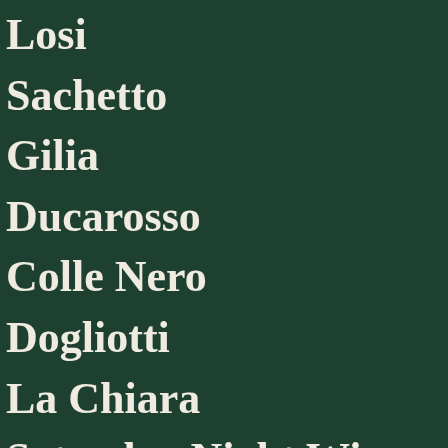Losi
Sachetto
Gilia
Ducarosso
Colle Nero
Dogliotti
La Chiara
Saturday Night Wines